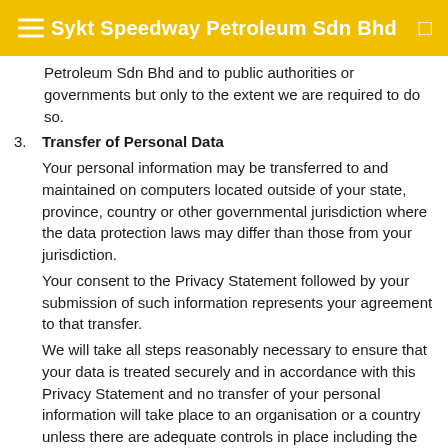Sykt Speedway Petroleum Sdn Bhd
Petroleum Sdn Bhd and to public authorities or governments but only to the extent we are required to do so.
3. Transfer of Personal Data
Your personal information may be transferred to and maintained on computers located outside of your state, province, country or other governmental jurisdiction where the data protection laws may differ than those from your jurisdiction.
Your consent to the Privacy Statement followed by your submission of such information represents your agreement to that transfer.
We will take all steps reasonably necessary to ensure that your data is treated securely and in accordance with this Privacy Statement and no transfer of your personal information will take place to an organisation or a country unless there are adequate controls in place including the security of your data and other personal information.
4. Cookies
...of our website or Service may use cookies and similar ...g technologies to track the activity on our website or ...ce and hold certain information.
Cookies are files with small amount of data which may include an anonymous unique identifier. Cookies are sent to